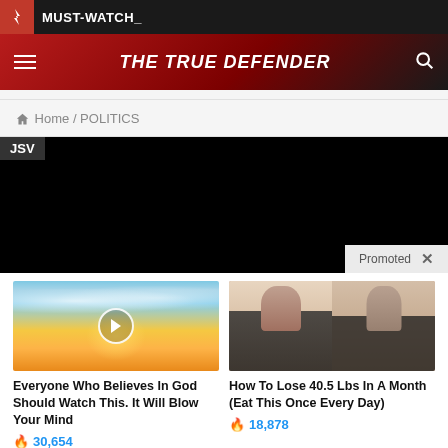MUST-WATCH_
THE TRUE DEFENDER
Home / POLITICS
[Figure (screenshot): Black video player area with JSV label and Promoted bar]
[Figure (photo): Sky with clouds and sun rays, play button overlay]
Everyone Who Believes In God Should Watch This. It Will Blow Your Mind
30,654
[Figure (photo): Before and after weight loss photo of woman in black top, back view]
How To Lose 40.5 Lbs In A Month (Eat This Once Every Day)
18,878